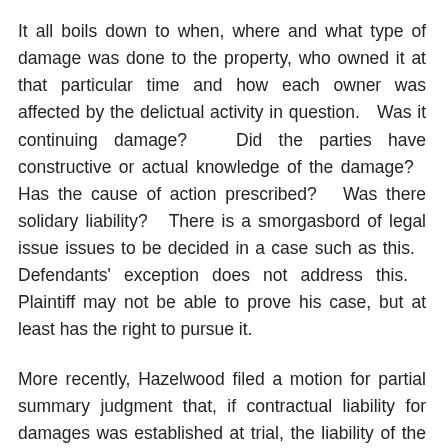It all boils down to when, where and what type of damage was done to the property, who owned it at that particular time and how each owner was affected by the delictual activity in question.   Was it continuing damage?   Did the parties have constructive or actual knowledge of the damage?   Has the cause of action prescribed?   Was there solidary liability?   There is a smorgasbord of legal issue issues to be decided in a case such as this.   Defendants' exception does not address this.   Plaintiff may not be able to prove his case, but at least has the right to pursue it.
More recently, Hazelwood filed a motion for partial summary judgment that, if contractual liability for damages was established at trial, the liability of the Defendants would be solidary and would include liability for consequential damages stemming from Hazelwood's loss of use of the Property.   Then, all of the Defendants filed motions for partial summary judgment seeking dismissal of